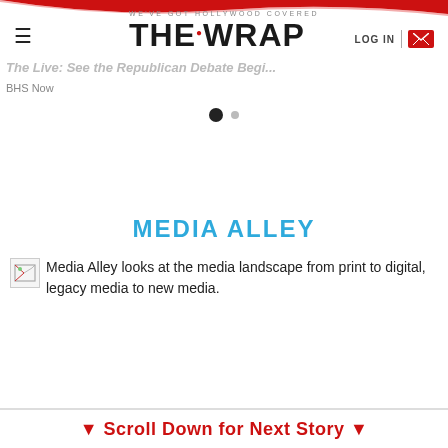WE'VE GOT HOLLYWOOD COVERED | THE WRAP | LOG IN
The Live: See the Republican Debate Begi...
BHS Now
[Figure (other): Carousel pagination dots — one filled black circle and one smaller grey circle]
MEDIA ALLEY
[Figure (other): Broken image placeholder icon]
Media Alley looks at the media landscape from print to digital, legacy media to new media.
▼ Scroll Down for Next Story ▼